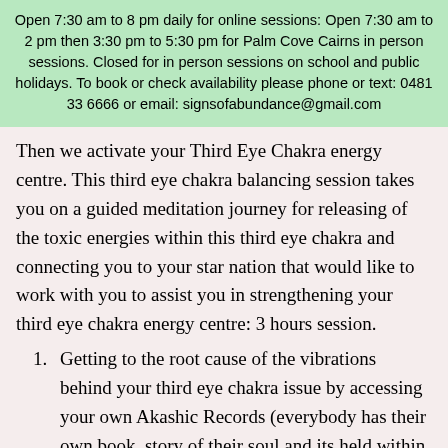Open 7:30 am to 8 pm daily for online sessions: Open 7:30 am to 2 pm then 3:30 pm to 5:30 pm for Palm Cove Cairns in person sessions. Closed for in person sessions on school and public holidays. To book or check availability please phone or text: 0481 33 6666 or email: signsofabundance@gmail.com
Then we activate your Third Eye Chakra energy centre. This third eye chakra balancing session takes you on a guided meditation journey for releasing of the toxic energies within this third eye chakra and connecting you to your star nation that would like to work with you to assist you in strengthening your third eye chakra energy centre: 3 hours session.
Getting to the root cause of the vibrations behind your third eye chakra issue by accessing your own Akashic Records (everybody has their own book, story of their soul and its held within the Akashic Records of your soul). Tara accesses your Akashic